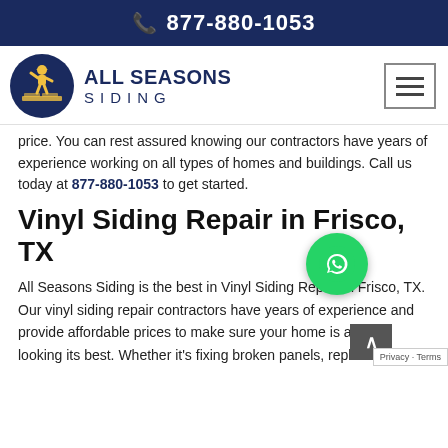☎ 877-880-1053
[Figure (logo): All Seasons Siding logo: dark blue circle with yellow construction worker figure, text ALL SEASONS SIDING beside it]
price. You can rest assured knowing our contractors have years of experience working on all types of homes and buildings. Call us today at 877-880-1053 to get started.
Vinyl Siding Repair in Frisco, TX
All Seasons Siding is the best in Vinyl Siding Repair in Frisco, TX. Our vinyl siding repair contractors have years of experience and provide affordable prices to make sure your home is always looking its best. Whether it's fixing broken panels, replacing mis...